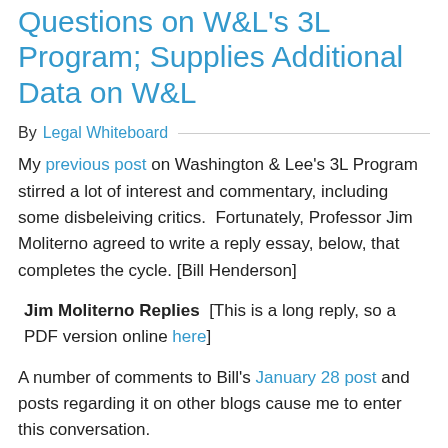Jim Moliterno Answers Questions on W&L's 3L Program; Supplies Additional Data on W&L
By Legal Whiteboard
My previous post on Washington & Lee's 3L Program stirred a lot of interest and commentary, including some disbeleiving critics.  Fortunately, Professor Jim Moliterno agreed to write a reply essay, below, that completes the cycle. [Bill Henderson]
Jim Moliterno Replies  [This is a long reply, so a PDF version online here]
A number of comments to Bill's January 28 post and posts regarding it on other blogs cause me to enter this conversation.